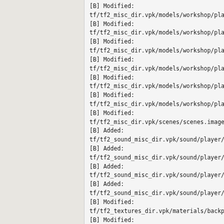[B] Modified:
tf/tf2_misc_dir.vpk/models/workshop/playe
[B] Modified:
tf/tf2_misc_dir.vpk/models/workshop/playe
[B] Modified:
tf/tf2_misc_dir.vpk/models/workshop/playe
[B] Modified:
tf/tf2_misc_dir.vpk/models/workshop/playe
[B] Modified:
tf/tf2_misc_dir.vpk/models/workshop/playe
[B] Modified:
tf/tf2_misc_dir.vpk/models/workshop/playe
[B] Modified:
tf/tf2_misc_dir.vpk/scenes/scenes.image
[B] Added:
tf/tf2_sound_misc_dir.vpk/sound/player/ta
[B] Added:
tf/tf2_sound_misc_dir.vpk/sound/player/ta
[B] Added:
tf/tf2_sound_misc_dir.vpk/sound/player/ta
[B] Added:
tf/tf2_sound_misc_dir.vpk/sound/player/ta
[B] Modified:
tf/tf2_textures_dir.vpk/materials/backpac
[B] Modified:
tf/tf2_textures_dir.vpk/materials/backpac
[B] Modified: